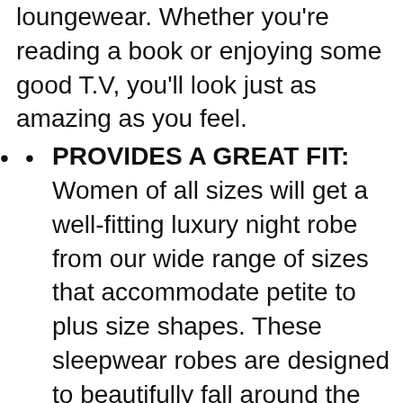loungewear. Whether you're reading a book or enjoying some good T.V, you'll look just as amazing as you feel.
PROVIDES A GREAT FIT: Women of all sizes will get a well-fitting luxury night robe from our wide range of sizes that accommodate petite to plus size shapes. These sleepwear robes are designed to beautifully fall around the knee to give them a sexy appeal.
FINISHED WITH CARE: You won't find any loose threads or unraveled seams on the soft velour